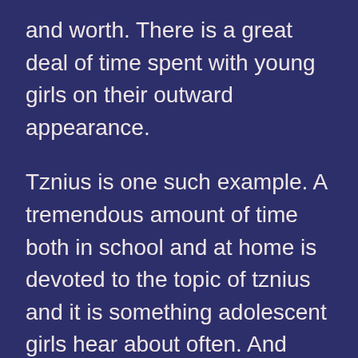and worth. There is a great deal of time spent with young girls on their outward appearance.
Tznius is one such example. A tremendous amount of time both in school and at home is devoted to the topic of tznius and it is something adolescent girls hear about often. And while the concept of tznius is modesty in all areas of our behavior, speech, and dress, the primary message received is that it tznius is all really about how we look and present ourselves. This